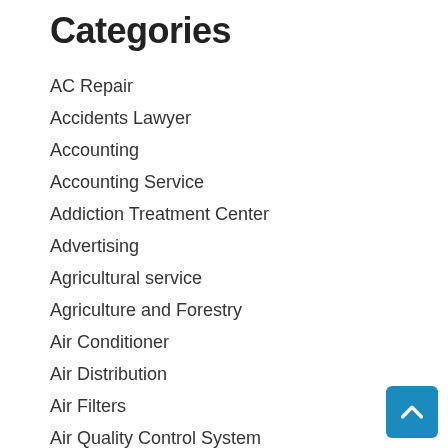Categories
AC Repair
Accidents Lawyer
Accounting
Accounting Service
Addiction Treatment Center
Advertising
Agricultural service
Agriculture and Forestry
Air Conditioner
Air Distribution
Air Filters
Air Quality Control System
Aircraft
Aluminum Supplier
Ammunition